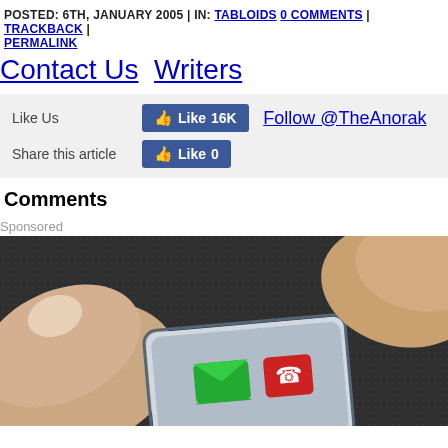POSTED: 6TH, JANUARY 2005 | IN: TABLOIDS 0 COMMENTS | TRACKBACK | PERMALINK
Contact Us  Writers
[Figure (infographic): Social sharing box with Facebook Like (16K) button, Follow @TheAnorak Twitter link, and Share this article Facebook Like (0) button on grey background]
Comments
Sponsored
[Figure (photo): Close-up photo of a finger pressing a smartphone touchscreen with call and message icons visible]